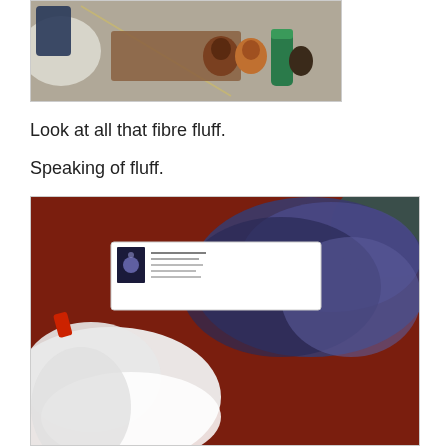[Figure (photo): Partial photo showing spinning or craft supplies on a surface, including spools and tools on what appears to be a wooden board, with a white fluffy fiber material visible.]
Look at all that fibre fluff.
Speaking of fluff.
[Figure (photo): A packaged skein of hand-dyed fiber labeled 'Pleiades' in a clear plastic bag sitting on a dark red/brown surface. The label shows a small logo with text including 'Hand Dyed Yarn' and 'Gradient Set'. The fiber appears to be dark blue/purple.]